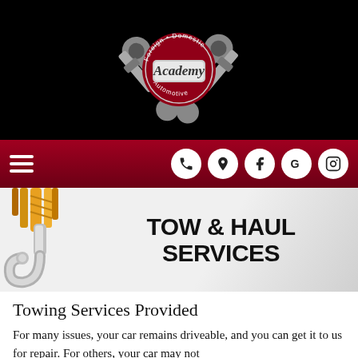[Figure (logo): Academy Automotive logo — crossed wrenches and spark plugs with a circular badge reading 'Foreign • Domestic' and 'Automotive', centered 'Academy' on dark background]
[Figure (infographic): Dark red navigation bar with hamburger menu icon on left and five white circular icons on right: phone, map pin, Facebook F, Google G, Instagram]
[Figure (photo): Tow and Haul Services banner image: tow hook with orange rope on left, large bold text 'TOW & HAUL SERVICES' on grey gradient background]
Towing Services Provided
For many issues, your car remains driveable, and you can get it to us for repair. For others, your car may not